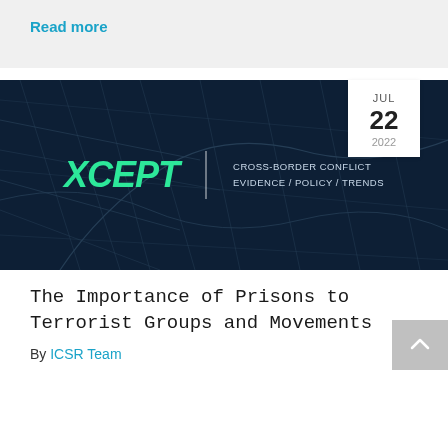Read more
[Figure (illustration): XCEPT banner image with dark navy map background showing city street grid, XCEPT logo in green with tagline CROSS-BORDER CONFLICT EVIDENCE / POLICY / TRENDS. Date badge shows JUL 22 2022.]
The Importance of Prisons to Terrorist Groups and Movements
By ICSR Team